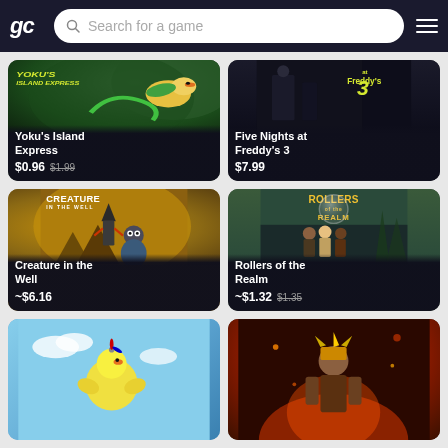gc  Search for a game
[Figure (screenshot): Game card: Yoku's Island Express, price $0.96 (original $1.99), colorful jungle/bird art]
[Figure (screenshot): Game card: Five Nights at Freddy's 3, price $7.99, dark horror art]
[Figure (screenshot): Game card: Creature in the Well, price ~$6.16, golden desert dungeon art with robot character]
[Figure (screenshot): Game card: Rollers of the Realm, price ~$1.32 (original $1.35), fantasy pinball art with characters]
[Figure (screenshot): Game card: partially visible, blue sky background with animated character]
[Figure (screenshot): Game card: partially visible, dark fiery background with warrior character]